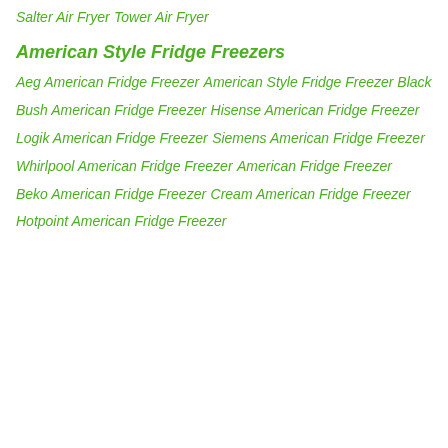Salter Air Fryer
Tower Air Fryer
American Style Fridge Freezers
Aeg American Fridge Freezer
American Style Fridge Freezer Black
Bush American Fridge Freezer
Hisense American Fridge Freezer
Logik American Fridge Freezer
Siemens American Fridge Freezer
Whirlpool American Fridge Freezer
American Fridge Freezer
Beko American Fridge Freezer
Cream American Fridge Freezer
Hotpoint American Fridge Freezer